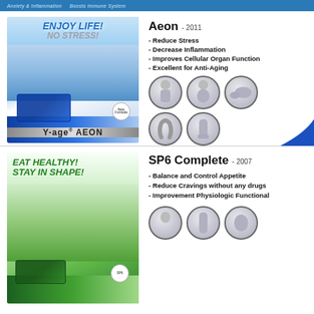Anxiety & Inflammation   Boosts Immune System
[Figure (photo): Y-age AEON product advertisement image with couple enjoying life, blue product box, text: ENJOY LIFE! NO STRESS!]
Aeon - 2011
- Reduce Stress
- Decrease Inflammation
- Improves Cellular Organ Function
- Excellent for Anti-Aging
[Figure (illustration): Five circular icons showing body parts: torso, neck/head, ankle, arm/shoulder, hand/fingers]
[Figure (photo): SP6 Complete product advertisement with woman eating healthy salad, green product box, text: EAT HEALTHY! STAY IN SHAPE!]
SP6 Complete - 2007
- Balance and Control Appetite
- Reduce Cravings without any drugs
- Improvement Physiologic Functional
[Figure (illustration): Three circular icons showing body parts (partially visible at bottom)]